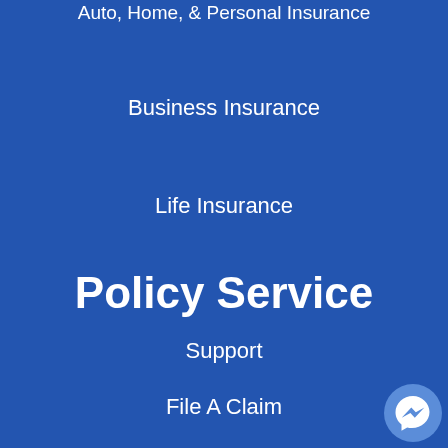Auto, Home, & Personal Insurance
Business Insurance
Life Insurance
Policy Service
Support
File A Claim
Online Billing & Payments
[Figure (logo): Messenger chat bubble icon in light blue circle at bottom right corner]